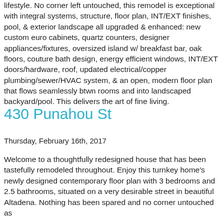lifestyle. No corner left untouched, this remodel is exceptional with integral systems, structure, floor plan, INT/EXT finishes, pool, & exterior landscape all upgraded & enhanced: new custom euro cabinets, quartz counters, designer appliances/fixtures, oversized island w/ breakfast bar, oak floors, couture bath design, energy efficient windows, INT/EXT doors/hardware, roof, updated electrical/copper plumbing/sewer/HVAC system, & an open, modern floor plan that flows seamlessly btwn rooms and into landscaped backyard/pool. This delivers the art of fine living.
430 Punahou St
Thursday, February 16th, 2017
Welcome to a thoughtfully redesigned house that has been tastefully remodeled throughout. Enjoy this turnkey home's newly designed contemporary floor plan with 3 bedrooms and 2.5 bathrooms, situated on a very desirable street in beautiful Altadena. Nothing has been spared and no corner untouched as